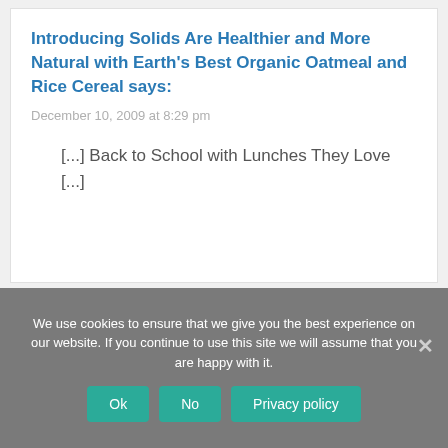Introducing Solids Are Healthier and More Natural with Earth's Best Organic Oatmeal and Rice Cereal says:
December 10, 2009 at 8:29 pm
[...] Back to School with Lunches They Love [...]
We use cookies to ensure that we give you the best experience on our website. If you continue to use this site we will assume that you are happy with it.
Ok  No  Privacy policy